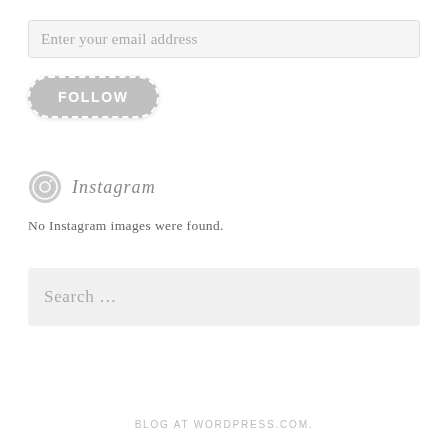Enter your email address
[Figure (other): FOLLOW button with dashed border rounded rectangle in gray]
Instagram
No Instagram images were found.
Search ...
BLOG AT WORDPRESS.COM.